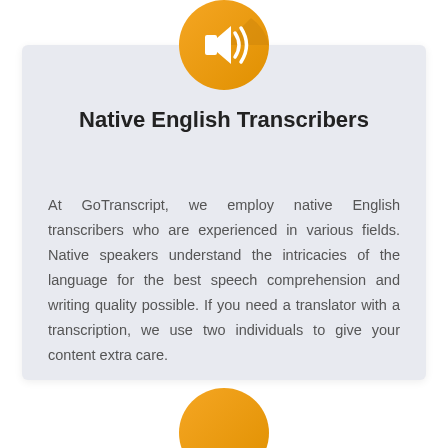[Figure (illustration): Golden/amber circular icon with white speaker/volume symbol, partially overlapping the top edge of the content card]
Native English Transcribers
At GoTranscript, we employ native English transcribers who are experienced in various fields. Native speakers understand the intricacies of the language for the best speech comprehension and writing quality possible. If you need a translator with a transcription, we use two individuals to give your content extra care.
[Figure (illustration): Golden/amber circular icon partially visible at the bottom of the page]